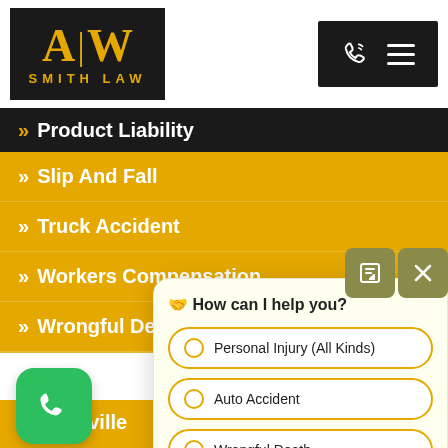[Figure (logo): A|W Smith Law logo on black background]
Product Liability
Slip And Fall
Truck Accident
Workers Compensation
Wrongful Death
Ou
Boonville
Camdenton
[Figure (screenshot): Chat widget popup with question 'How can I help you?' and options: Personal Injury (All Kinds), Auto Accident, Wrongful Death]